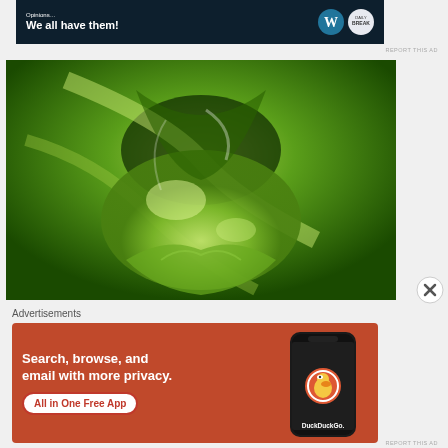[Figure (screenshot): Top advertisement banner with dark navy background showing WordPress and DailyBreak logos and text 'We all have them!']
[Figure (photo): Close-up macro photograph of bright green guacamole or avocado dip swirled in a bowl, showing glossy texture and folds]
[Figure (other): Close/dismiss button (X in circle) overlaid at lower right of the food photo]
Advertisements
[Figure (screenshot): DuckDuckGo advertisement on orange-red background reading 'Search, browse, and email with more privacy. All in One Free App' with phone mockup showing DuckDuckGo app]